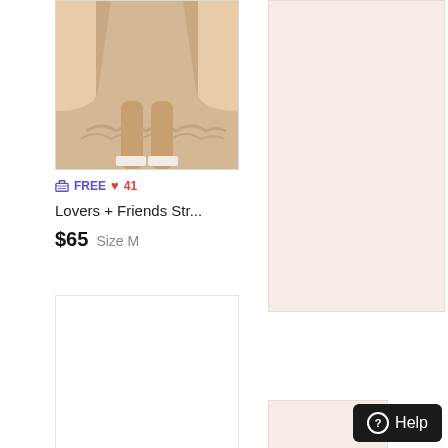[Figure (photo): Product photo of a beige/nude mini dress with ruffle hem, worn by a model showing legs and white sandals]
≡ FREE ♥ 41
Lovers + Friends Str...
$65  Size M
[Figure (photo): Blank/loading product image placeholder with light peach background - right column top]
[Figure (photo): Blank/loading product image placeholder with white background - left column bottom]
[Figure (photo): Blank/loading product image placeholder with light peach background - right column bottom]
Help